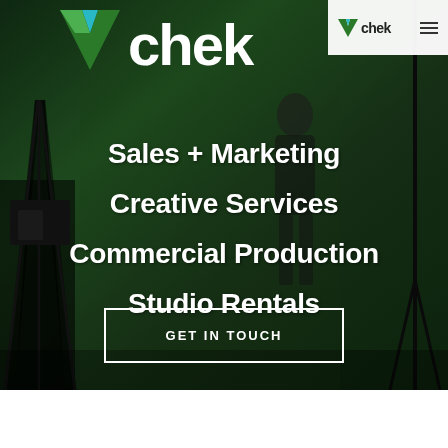[Figure (photo): Hero background showing a film/video production studio with green screen, camera equipment, tripods, and a person standing in the background. Dark green overlay on top of the photo.]
vchek
Sales + Marketing
Creative Services
Commercial Production
Studio Rentals
GET IN TOUCH